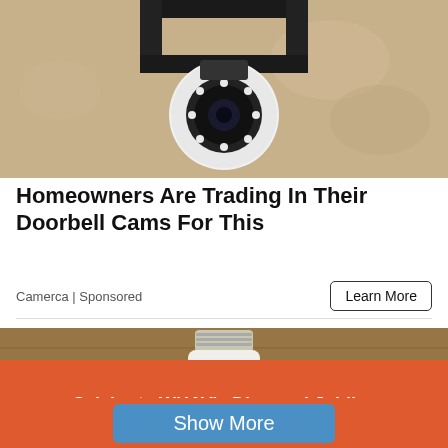[Figure (photo): A wall-mounted security camera with a round white body and black bracket, LED ring, mounted on a beige/tan textured wall.]
Homeowners Are Trading In Their Doorbell Cams For This
Camerca | Sponsored
Learn More
[Figure (photo): A hand holding a white bulb-shaped security camera with a screw base (E27 socket), against a wooden surface background.]
Celebrate WHAV's Diamond Jubilee
Show More